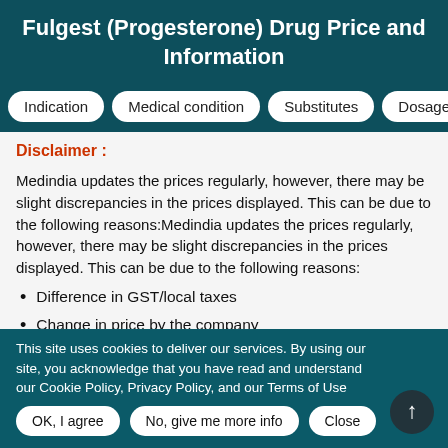Fulgest (Progesterone) Drug Price and Information
Indication | Medical condition | Substitutes | Dosage
Disclaimer :
Medindia updates the prices regularly, however, there may be slight discrepancies in the prices displayed. This can be due to the following reasons:Medindia updates the prices regularly, however, there may be slight discrepancies in the prices displayed. This can be due to the following reasons:
Difference in GST/local taxes
Change in price by the company
This site uses cookies to deliver our services. By using our site, you acknowledge that you have read and understand our Cookie Policy, Privacy Policy, and our Terms of Use